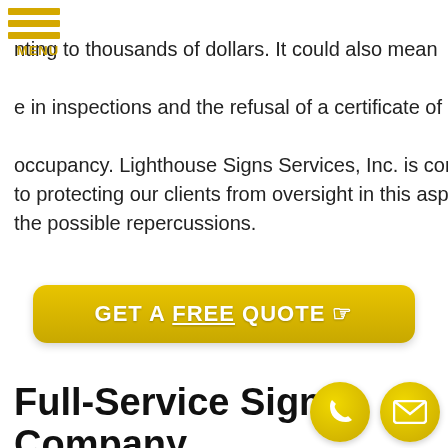MENU
nting to thousands of dollars. It could also mean e in inspections and the refusal of a certificate of occupancy. Lighthouse Signs Services, Inc. is committed to protecting our clients from oversight in this aspect and the possible repercussions.
[Figure (other): GET A FREE QUOTE button in golden yellow with hand pointer icon]
Full-Service Sign Company
[Figure (other): Two circular golden contact icons: phone and email]